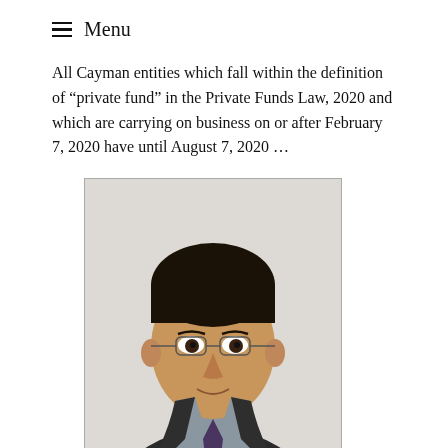≡ Menu
All Cayman entities which fall within the definition of "private fund" in the Private Funds Law, 2020 and which are carrying on business on or after February 7, 2020 have until August 7, 2020 …
[Figure (photo): Professional headshot of an Asian man wearing glasses, a dark suit jacket, grey shirt, and dark tie, photographed against a light background.]